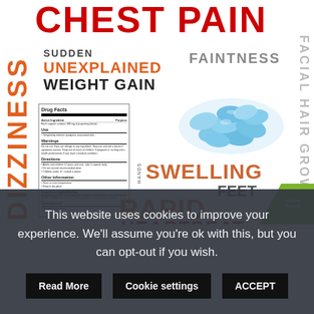CHEST PAIN
SUDDEN UNEXPLAINED WEIGHT GAIN
FAINTNESS
DIZZINESS
FACIAL HAIR GROWTH
[Figure (photo): Pile of blue oval pills/tablets on white background]
[Figure (other): Drug Facts label panel with active ingredients, warnings, and product information text]
HANDS SWELLING FEET
RAPID HEARTBEAT
[Figure (logo): Choose Natural green badge logo in bottom right corner]
This website uses cookies to improve your experience. We'll assume you're ok with this, but you can opt-out if you wish.
Read More
Cookie settings
ACCEPT